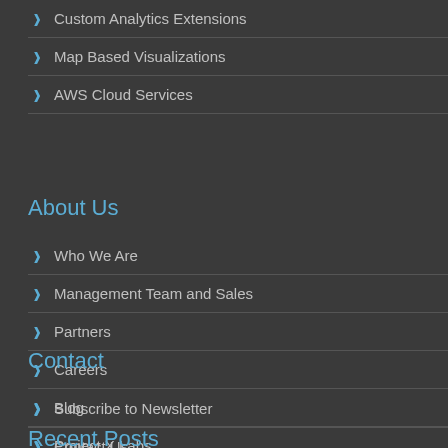Custom Analytics Extensions
Map Based Visualizations
AWS Cloud Services
About Us
Who We Are
Management Team and Sales
Partners
Careers
Blog
Project X Labs
Contact
Subscribe to Newsletter
Contact Us
Recent Posts